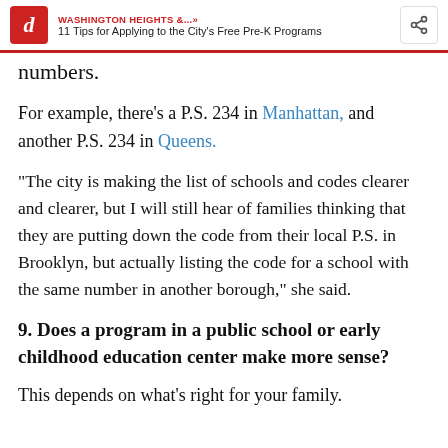WASHINGTON HEIGHTS &...» 11 Tips for Applying to the City's Free Pre-K Programs
numbers.
For example, there's a P.S. 234 in Manhattan, and another P.S. 234 in Queens.
“The city is making the list of schools and codes clearer and clearer, but I will still hear of families thinking that they are putting down the code from their local P.S. in Brooklyn, but actually listing the code for a school with the same number in another borough,” she said.
9. Does a program in a public school or early childhood education center make more sense?
This depends on what’s right for your family.